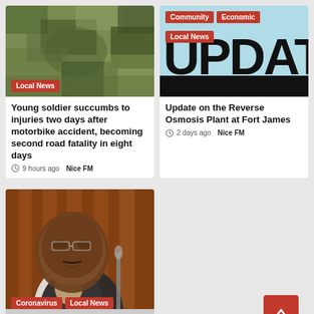[Figure (photo): Camouflage military uniform/soldiers image with a Local News tag]
Young soldier succumbs to injuries two days after motorbike accident, becoming second road fatality in eight days
9 hours ago  Nice FM
[Figure (photo): Update banner with sky blue background and large black UPDAT text, Community, Economic, and Local News tags]
Update on the Reverse Osmosis Plant at Fort James
2 days ago  Nice FM
[Figure (photo): Portrait of an older man in a suit speaking at a podium with Coronavirus and Local News tags and PRESIDENT text visible]
Coronavirus  Local News  PRESIDENT